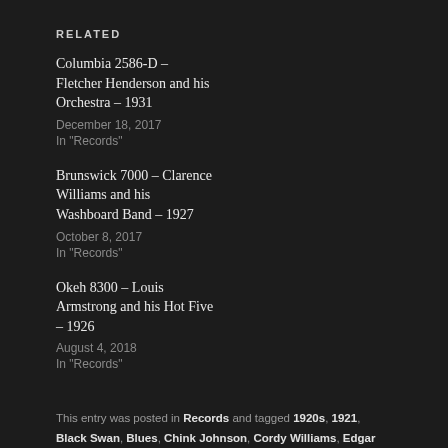RELATED
Columbia 2586-D – Fletcher Henderson and his Orchestra – 1931
December 18, 2017
In "Records"
Brunswick 7000 – Clarence Williams and his Washboard Band – 1927
October 8, 2017
In "Records"
Okeh 8300 – Louis Armstrong and his Hot Five – 1926
August 4, 2018
In "Records"
This entry was posted in Records and tagged 1920s, 1921, Black Swan, Blues, Chink Johnson, Cordy Williams, Edgar Campbell, Fletcher Henderson, Garvin Bushell, George Brashear, Harlem, Henry Creamer, Jazz, John Mitchell, New York, NYRL, Race Record, Rare Labels, Sam Speed, Turner Layton, Vaudeville by R. Connor Montgomery. Bookmark the permalink.